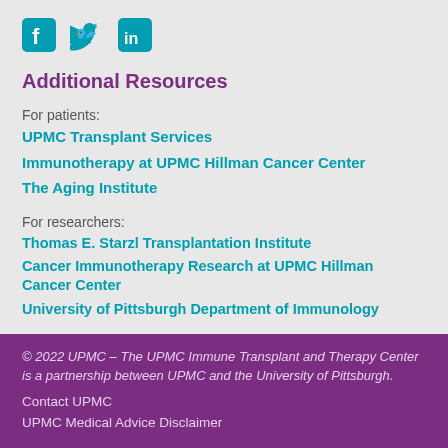[Figure (other): Social media icons: Facebook, Twitter, LinkedIn in teal/blue color]
Additional Resources
For patients:
UPMC Transplant Services
Immunotherapy at UPMC Hillman Cancer Center
The Aging Institute
For researchers:
Thomas E. Starzl Transplantation Institute
Cancer Immunotherapy Research at UPMC Hillman Cancer Center
University of Pittsburgh Department of Immunology
© 2022 UPMC – The UPMC Immune Transplant and Therapy Center is a partnership between UPMC and the University of Pittsburgh.
Contact UPMC
UPMC Medical Advice Disclaimer